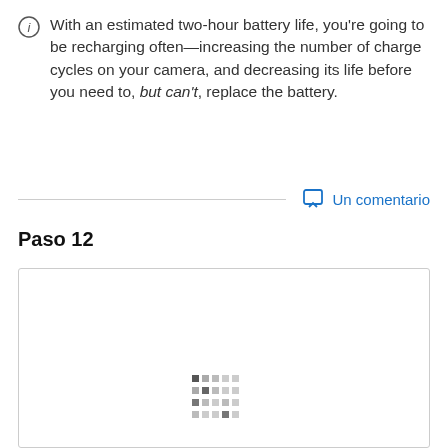With an estimated two-hour battery life, you're going to be recharging often—increasing the number of charge cycles on your camera, and decreasing its life before you need to, but can't, replace the battery.
Un comentario
Paso 12
[Figure (photo): A bordered image box with a loading spinner/placeholder in the center-bottom area, showing a partially loaded image.]